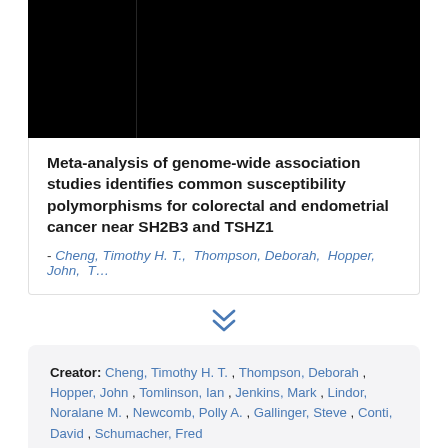[Figure (photo): Black image/screenshot area at top of page, likely a chart or figure thumbnail mostly obscured.]
Meta-analysis of genome-wide association studies identifies common susceptibility polymorphisms for colorectal and endometrial cancer near SH2B3 and TSHZ1
- Cheng, Timothy H. T., Thompson, Deborah, Hopper, John, T…
Creator: Cheng, Timothy H. T. , Thompson, Deborah , Hopper, John , Tomlinson, Ian , Jenkins, Mark , Lindor, Noralane M. , Newcomb, Polly A. , Gallinger, Steve , Conti, David , Schumacher, Fred , Casey, Graham , Giles, Graham G. , Pharoah,